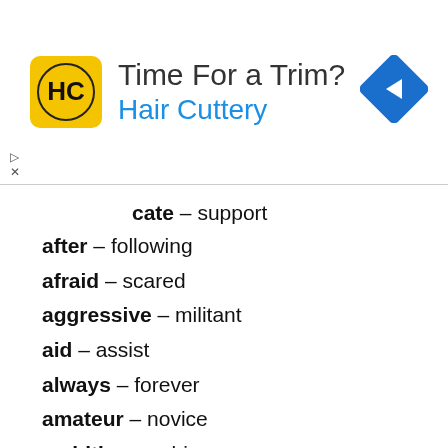[Figure (other): Hair Cuttery advertisement banner with logo, text 'Time For a Trim? Hair Cuttery', and navigation arrow icon]
…cate – support
after – following
afraid – scared
aggressive – militant
aid – assist
always – forever
amateur – novice
ambitious – driven
antagonize – embitter
apparent – obvious,evident
approve – ratify,endorse
arrive – come
arrogant – stuck-up
awful – atrocious